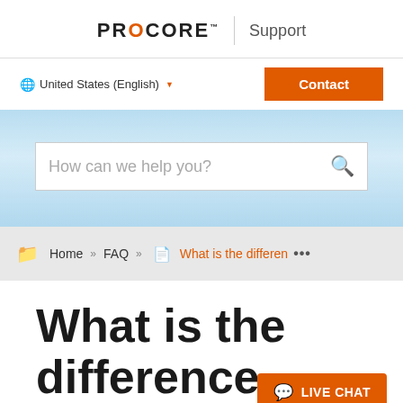PROCORE | Support
United States (English) ▼   Contact
[Figure (screenshot): Search bar with placeholder text 'How can we help you?' and a search icon, on a light blue gradient background]
Home » FAQ » What is the differen ...
What is the difference